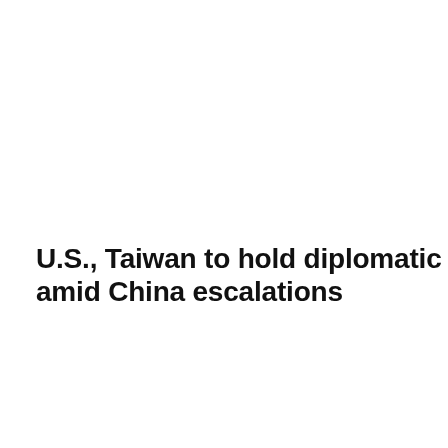U.S., Taiwan to hold diplomatic talks amid China escalations
[Figure (screenshot): Video player screenshot showing a man in a black jacket speaking, with bookshelves in the background. Video controls bar at bottom with pause, rewind, settings, and theater mode icons. Just the News logo in bottom right. A '8 seconds...' countdown badge overlays the top right of the video.]